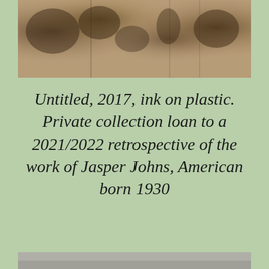[Figure (photo): Artwork photograph showing ink on plastic, appearing as abstract dark shapes with brownish-sepia tones, displayed as a horizontal strip]
Untitled, 2017, ink on plastic. Private collection loan to a 2021/2022 retrospective of the work of Jasper Johns, American born 1930
[Figure (photo): Bottom edge of another artwork or image, showing grayish tones, partially visible]